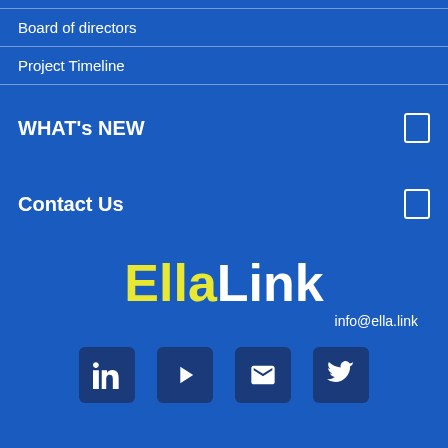Board of directors
Project Timeline
WHAT's NEW
Contact Us
[Figure (logo): EllaLink logo with 'Ella' in yellow and 'Link' in white bold text]
info@ella.link
[Figure (infographic): Social media icons: LinkedIn, play button (video), email, Twitter]